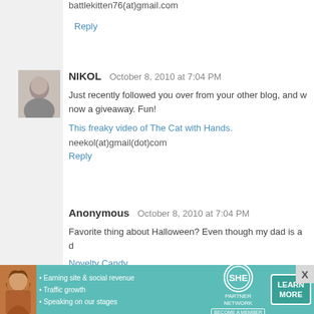battlekitten76(at)gmail.com
Reply
NIKOL  October 8, 2010 at 7:04 PM
Just recently followed you over from your other blog, and w now a giveaway. Fun!
This freaky video of The Cat with Hands.
neekol(at)gmail(dot)com
Reply
Anonymous  October 8, 2010 at 7:04 PM
Favorite thing about Halloween? Even though my dad is a d
Novelty Candy
Reply
My name is Michelle.  October 8, 2010 at 7:05 PM
[Figure (infographic): SHE Partner Network advertisement banner with teal background, woman photo, bullet points about earning/traffic/speaking, SHE logo, LEARN MORE button]